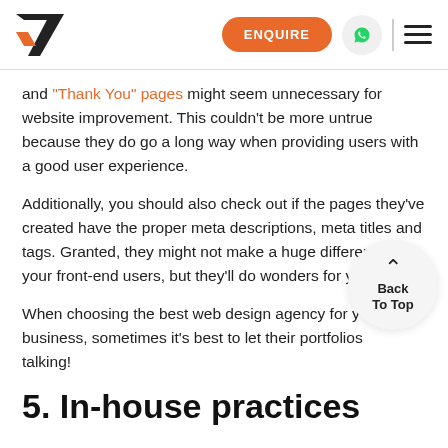ENQUIRE [navigation bar with logo, enquire button, whatsapp icon, hamburger menu]
and "Thank You" pages might seem unnecessary for website improvement. This couldn't be more untrue because they do go a long way when providing users with a good user experience.
Additionally, you should also check out if the pages they've created have the proper meta descriptions, meta titles and tags. Granted, they might not make a huge difference for your front-end users, but they'll do wonders for yo
When choosing the best web design agency for your business, sometimes it's best to let their portfolios talking!
5. In-house practices